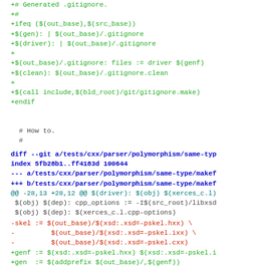+# Generated .gitignore.
+#
+ifeq ($(out_base),$(src_base))
+$(gen): | $(out_base)/.gitignore
+$(driver): | $(out_base)/.gitignore
+
+$(out_base)/.gitignore: files := driver $(genf)
+$(clean): $(out_base)/.gitignore.clean
+
+$(call include,$(bld_root)/git/gitignore.make)
+endif
# How to.
  #
diff --git a/tests/cxx/parser/polymorphism/same-typ
index 5fb28b1..ff4183d 100644
--- a/tests/cxx/parser/polymorphism/same-type/makef
+++ b/tests/cxx/parser/polymorphism/same-type/makef
@@ -28,13 +28,12 @@ $(driver): $(obj) $(xerces_c.l)
 $(obj) $(dep): cpp_options := -I$(src_root)/libxsd
 $(obj) $(dep): $(xerces_c.l.cpp-options)
-skel := $(out_base)/$(xsd:.xsd=-pskel.hxx) \
-         $(out_base)/$(xsd:.xsd=-pskel.ixx) \
-         $(out_base)/$(xsd:.xsd=-pskel.cxx)
+genf := $(xsd:.xsd=-pskel.hxx) $(xsd:.xsd=-pskel.i
+gen  := $(addprefix $(out_base)/,$(genf))